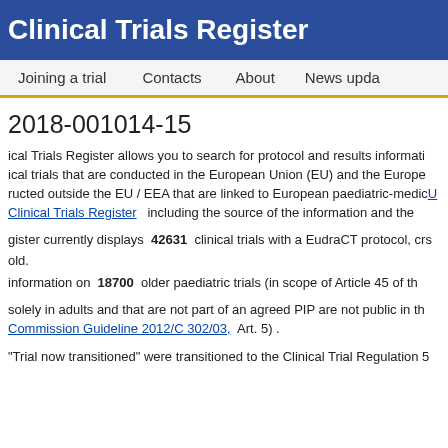Clinical Trials Register
Joining a trial   Contacts   About   News updates
2018-001014-15
The EU Clinical Trials Register allows you to search for protocol and results information on clinical trials that are conducted in the European Union (EU) and the European Economic Area (EEA) and on clinical trials conducted outside the EU / EEA that are linked to European paediatric-medicine development. The EU Clinical Trials Register including the source of the information and the EU Clinical Trials Register.
The EU Clinical Trials Register currently displays 42631 clinical trials with a EudraCT protocol, of which 6,844 are clinical trials for minors old.
The register also displays information on 18700 older paediatric trials (in scope of Article 45 of the Paediatric Regulation).
Trials conducted solely in adults and that are not part of an agreed PIP are not public in the EU Clinical Trials Register. For further information see European Commission Guideline 2012/C 302/03, Art. 5) .
Trials labelled as "Trial now transitioned" were transitioned to the Clinical Trial Regulation 5...